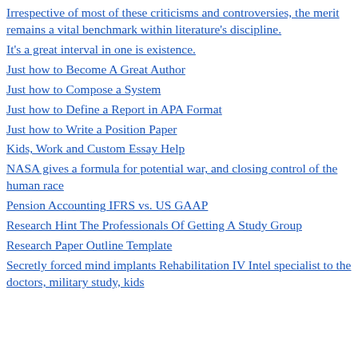Irrespective of most of these criticisms and controversies, the merit remains a vital benchmark within literature's discipline.
It's a great interval in one is existence.
Just how to Become A Great Author
Just how to Compose a System
Just how to Define a Report in APA Format
Just how to Write a Position Paper
Kids, Work and Custom Essay Help
NASA gives a formula for potential war, and closing control of the human race
Pension Accounting IFRS vs. US GAAP
Research Hint The Professionals Of Getting A Study Group
Research Paper Outline Template
Secretly forced mind implants Rehabilitation IV Intel specialist to the doctors, military study, kids